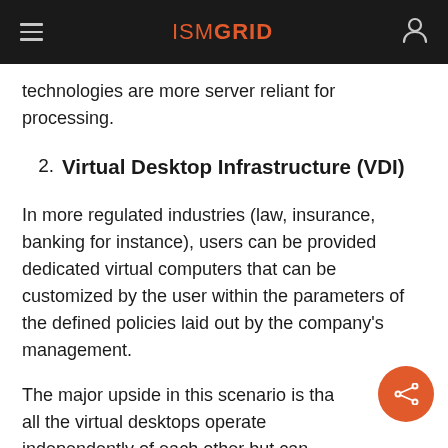ISM GRID
technologies are more server reliant for processing.
2. Virtual Desktop Infrastructure (VDI)
In more regulated industries (law, insurance, banking for instance), users can be provided dedicated virtual computers that can be customized by the user within the parameters of the defined policies laid out by the company's management.
The major upside in this scenario is that all the virtual desktops operate independently of each other but can